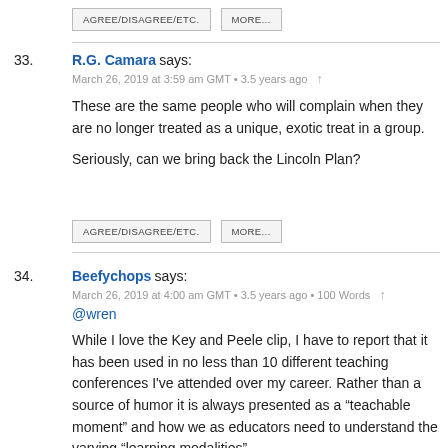AGREE/DISAGREE/ETC.  MORE...
33. R.G. Camara says:
March 26, 2019 at 3:59 am GMT • 3.5 years ago ↑

These are the same people who will complain when they are no longer treated as a unique, exotic treat in a group.

Seriously, can we bring back the Lincoln Plan?
AGREE/DISAGREE/ETC.  MORE...
34. Beefychops says:
March 26, 2019 at 4:00 am GMT • 3.5 years ago • 100 Words ↑
@wren

While I love the Key and Peele clip, I have to report that it has been used in no less than 10 different teaching conferences I've attended over my career. Rather than a source of humor it is always presented as a "teachable moment" and how we as educators need to understand the varying "learning modalities"